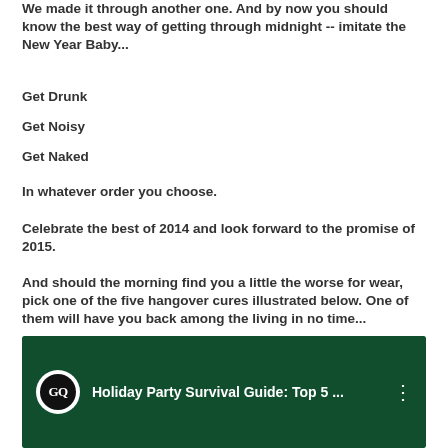We made it through another one. And by now you should know the best way of getting through midnight -- imitate the New Year Baby...
Get Drunk
Get Noisy
Get Naked
In whatever order you choose.
Celebrate the best of 2014 and look forward to the promise of 2015.
And should the morning find you a little the worse for wear, pick one of the five hangover cures illustrated below. One of them will have you back among the living in no time...
[Figure (screenshot): GQ YouTube video thumbnail: Holiday Party Survival Guide: Top 5 ...]